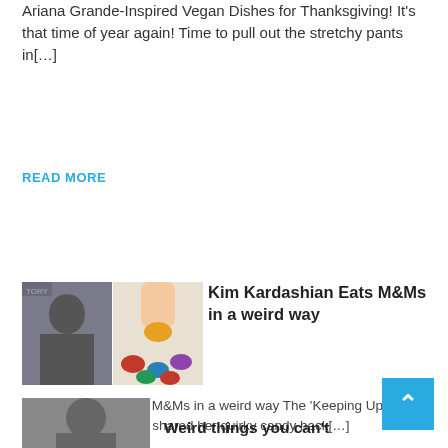Ariana Grande-Inspired Vegan Dishes for Thanksgiving! It's that time of year again! Time to pull out the stretchy pants in[…]
READ MORE
[Figure (photo): Two side-by-side images: left shows Kim Kardashian posing, right shows fingers holding an M&M candy above a pile of M&Ms]
Kim Kardashian Eats M&Ms in a weird way
Kim Kardashian Eats M&Ms in a weird way The 'Keeping Up With the Kardashians' star shared her quirky candy hack[…]
READ MORE
Weird things you can't